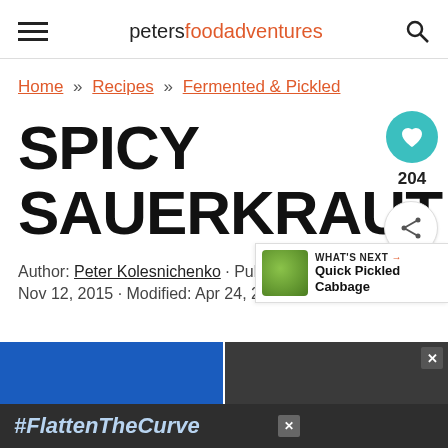petersfoodadventures
Home » Recipes » Fermented & Pickled
SPICY SAUERKRAUT
Author: Peter Kolesnichenko · Published: Nov 12, 2015 · Modified: Apr 24, 2...
[Figure (other): What's Next panel with image of Quick Pickled Cabbage]
[Figure (other): Bottom photo strip and #FlattenTheCurve advertisement banner]